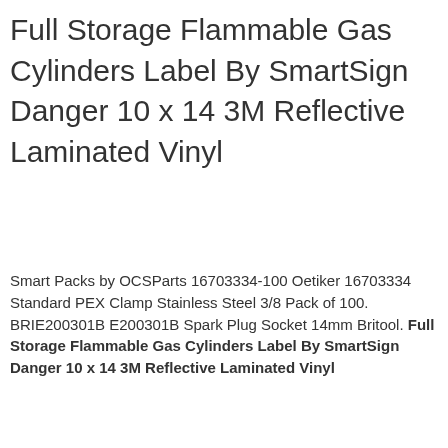Full Storage Flammable Gas Cylinders Label By SmartSign Danger 10 x 14 3M Reflective Laminated Vinyl
Smart Packs by OCSParts 16703334-100 Oetiker 16703334 Standard PEX Clamp Stainless Steel 3/8 Pack of 100. BRIE200301B E200301B Spark Plug Socket 14mm Britool. Full Storage Flammable Gas Cylinders Label By SmartSign Danger 10 x 14 3M Reflective Laminated Vinyl